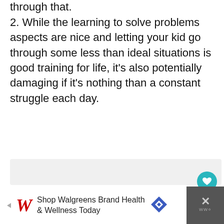through that.
2. While the learning to solve problems aspects are nice and letting your kid go through some less than ideal situations is good training for life, it’s also potentially damaging if it’s nothing than a constant struggle each day.
[Figure (screenshot): Gray panel with a teal heart button and a white share button on the right side]
Shop Walgreens Brand Health & Wellness Today